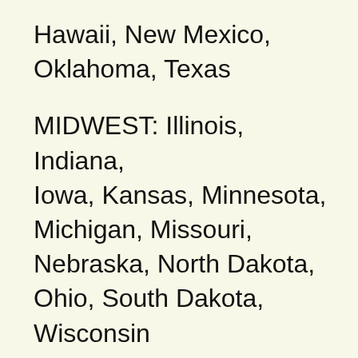Hawaii, New Mexico, Oklahoma, Texas
MIDWEST: Illinois, Indiana, Iowa, Kansas, Minnesota, Michigan, Missouri, Nebraska, North Dakota, Ohio, South Dakota, Wisconsin